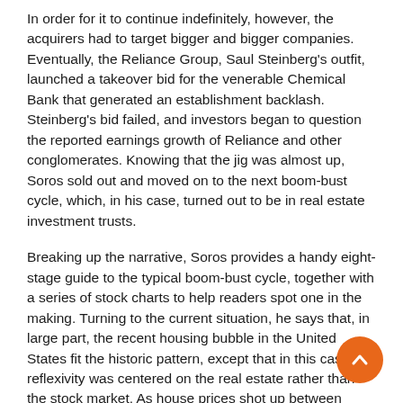In order for it to continue indefinitely, however, the acquirers had to target bigger and bigger companies. Eventually, the Reliance Group, Saul Steinberg's outfit, launched a takeover bid for the venerable Chemical Bank that generated an establishment backlash. Steinberg's bid failed, and investors began to question the reported earnings growth of Reliance and other conglomerates. Knowing that the jig was almost up, Soros sold out and moved on to the next boom-bust cycle, which, in his case, turned out to be in real estate investment trusts.
Breaking up the narrative, Soros provides a handy eight-stage guide to the typical boom-bust cycle, together with a series of stock charts to help readers spot one in the making. Turning to the current situation, he says that, in large part, the recent housing bubble in the United States fit the historic pattern, except that in this case reflexivity was centered on the real estate rather than the stock market. As house prices shot up between 2001 and 2005, credit standards deteriorated sharply. Rather than restricting their lending, mortgage financiers deluded themselves into believing that the collateral for the loans they were making would continue to rise in value. The very act of extending more and more credit, on easier and easier terms, kept demand for real estate buoyant, which,